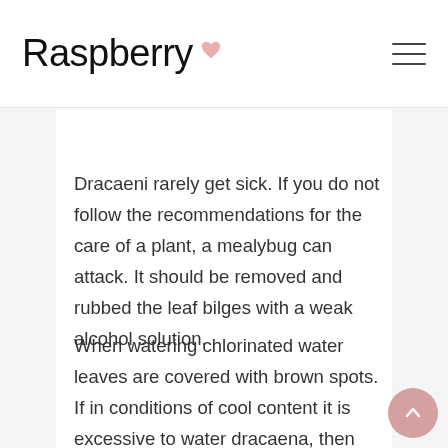Raspberry
Dracaeni rarely get sick. If you do not follow the recommendations for the care of a plant, a mealybug can attack. It should be removed and rubbed the leaf bilges with a weak alcohol solution.
When watering chlorinated water leaves are covered with brown spots. If in conditions of cool content it is excessive to water dracaena, then very soon it will be necessary to root the preserved tops - the roots will die, and the plant will die.